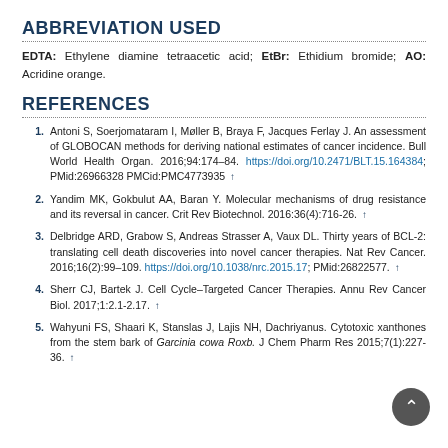ABBREVIATION USED
EDTA: Ethylene diamine tetraacetic acid; EtBr: Ethidium bromide; AO: Acridine orange.
REFERENCES
1. Antoni S, Soerjomataram I, Møller B, Braya F, Jacques Ferlay J. An assessment of GLOBOCAN methods for deriving national estimates of cancer incidence. Bull World Health Organ. 2016;94:174–84. https://doi.org/10.2471/BLT.15.164384; PMid:26966328 PMCid:PMC4773935 ↑
2. Yandim MK, Gokbulut AA, Baran Y. Molecular mechanisms of drug resistance and its reversal in cancer. Crit Rev Biotechnol. 2016:36(4):716-26. ↑
3. Delbridge ARD, Grabow S, Andreas Strasser A, Vaux DL. Thirty years of BCL-2: translating cell death discoveries into novel cancer therapies. Nat Rev Cancer. 2016;16(2):99–109. https://doi.org/10.1038/nrc.2015.17; PMid:26822577. ↑
4. Sherr CJ, Bartek J. Cell Cycle–Targeted Cancer Therapies. Annu Rev Cancer Biol. 2017;1:2.1-2.17. ↑
5. Wahyuni FS, Shaari K, Stanslas J, Lajis NH, Dachriyanus. Cytotoxic xanthones from the stem bark of Garcinia cowa Roxb. J Chem Pharm Res 2015;7(1):227-36. ↑